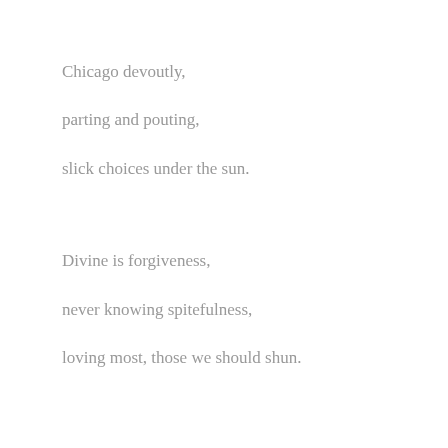Chicago devoutly,
parting and pouting,
slick choices under the sun.
Divine is forgiveness,
never knowing spitefulness,
loving most, those we should shun.